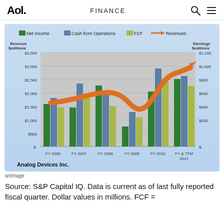Aol. FINANCE
[Figure (grouped-bar-chart): Analog Devices Inc.]
anImage
Source: S&P Capital IQ. Data is current as of last fully reported fiscal quarter. Dollar values in millions. FCF =